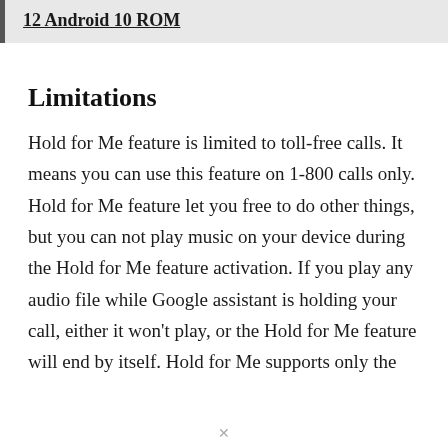12 Android 10 ROM
Limitations
Hold for Me feature is limited to toll-free calls. It means you can use this feature on 1-800 calls only. Hold for Me feature let you free to do other things, but you can not play music on your device during the Hold for Me feature activation. If you play any audio file while Google assistant is holding your call, either it won’t play, or the Hold for Me feature will end by itself. Hold for Me supports only the